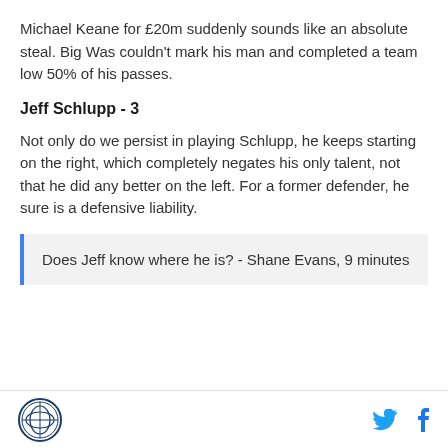Michael Keane for £20m suddenly sounds like an absolute steal. Big Was couldn't mark his man and completed a team low 50% of his passes.
Jeff Schlupp - 3
Not only do we persist in playing Schlupp, he keeps starting on the right, which completely negates his only talent, not that he did any better on the left. For a former defender, he sure is a defensive liability.
Does Jeff know where he is? - Shane Evans, 9 minutes
Logo | Twitter | Facebook